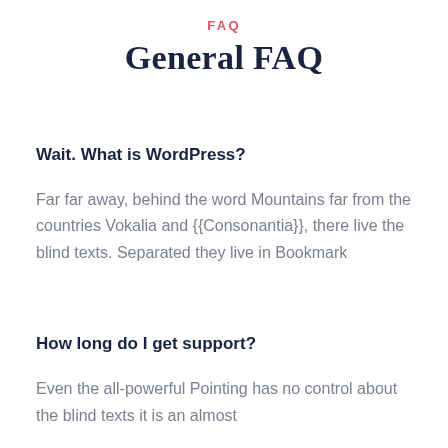FAQ
General FAQ
Wait. What is WordPress?
Far far away, behind the word Mountains far from the countries Vokalia and {{Consonantia}}, there live the blind texts. Separated they live in Bookmark
How long do I get support?
Even the all-powerful Pointing has no control about the blind texts it is an almost